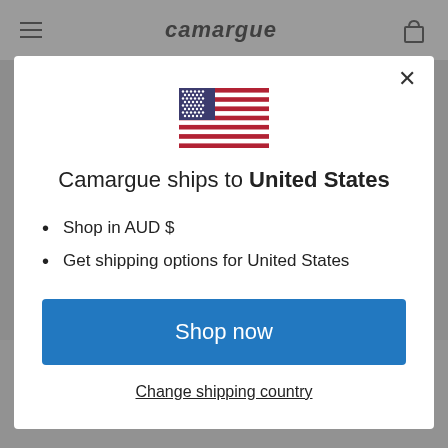camargue
[Figure (illustration): US flag emoji/illustration centered above modal text]
Camargue ships to United States
Shop in AUD $
Get shipping options for United States
Shop now
Change shipping country
structures, their and technical materials. However you describe them, Watanabe pieces are always individual and